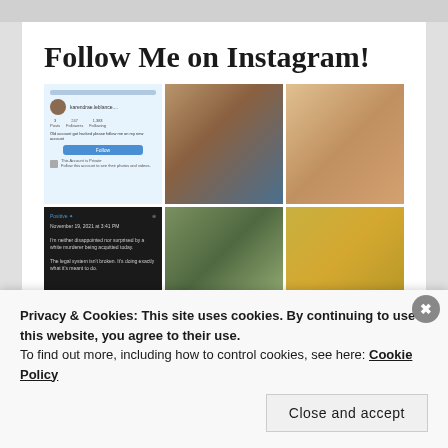Follow Me on Instagram!
[Figure (screenshot): A 2×3 grid of Instagram photos and screenshots including an Instagram profile page showing a private account, a woman sitting on rocks outdoors wearing a hat, a couple at a restaurant, a Twitter/social media post about a white murderer being acquitted, a couple at an outdoor venue, and a woman in a sunflower field]
Privacy & Cookies: This site uses cookies. By continuing to use this website, you agree to their use.
To find out more, including how to control cookies, see here: Cookie Policy
Close and accept